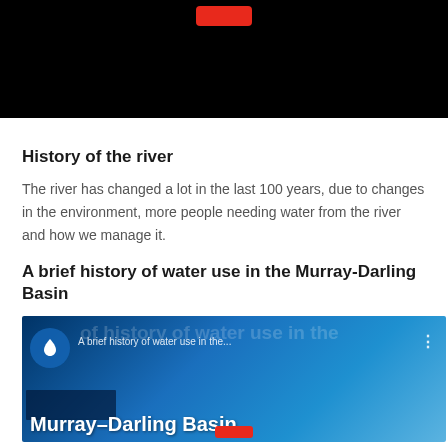[Figure (screenshot): YouTube video thumbnail with black background and red YouTube play button at top]
History of the river
The river has changed a lot in the last 100 years, due to changes in the environment, more people needing water from the river and how we manage it.
A brief history of water use in the Murray-Darling Basin
[Figure (screenshot): YouTube video thumbnail for 'A brief history of water use in the Murray-Darling Basin' with blue gradient background showing Murray-Darling Basin branding, water drop logo, and building silhouette]